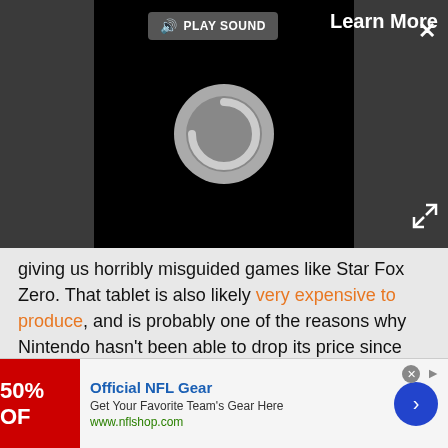[Figure (screenshot): Video player overlay with dark background, PLAY SOUND button, Learn More text, close X button, loading circle, and expand arrows]
giving us horribly misguided games like Star Fox Zero. That tablet is also likely very expensive to produce, and is probably one of the reasons why Nintendo hasn't been able to drop its price since launch. Outside of making the deluxe 32 gigabyte version available at the entry-level $300 price tag and bundling some games with it, its price hasn't budged, and people waiting for a markdown to happen will likely keep waiting until Nintendo officially pulls the plug on it.
[Figure (screenshot): Advertisement banner for Official NFL Gear showing 50% OFF red image, blue title, subtitle text, nflshop.com URL, and blue arrow button]